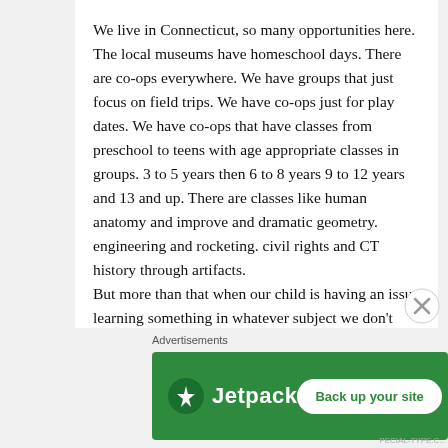We live in Connecticut, so many opportunities here. The local museums have homeschool days. There are co-ops everywhere. We have groups that just focus on field trips. We have co-ops just for play dates. We have co-ops that have classes from preschool to teens with age appropriate classes in groups. 3 to 5 years then 6 to 8 years 9 to 12 years and 13 and up. There are classes like human anatomy and improve and dramatic geometry. engineering and rocketing. civil rights and CT history through artifacts.
But more than that when our child is having an issue learning something in whatever subject we don't have to stop at 45 minutes and begin the
[Figure (other): Jetpack advertisement banner with green background, Jetpack logo on the left and 'Back up your site' button on the right]